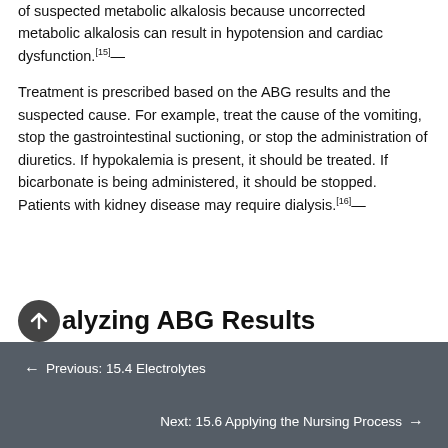of suspected metabolic alkalosis because uncorrected metabolic alkalosis can result in hypotension and cardiac dysfunction.[15]
Treatment is prescribed based on the ABG results and the suspected cause. For example, treat the cause of the vomiting, stop the gastrointestinal suctioning, or stop the administration of diuretics. If hypokalemia is present, it should be treated. If bicarbonate is being administered, it should be stopped. Patients with kidney disease may require dialysis.[16]
Analyzing ABG Results
← Previous: 15.4 Electrolytes   Next: 15.6 Applying the Nursing Process →